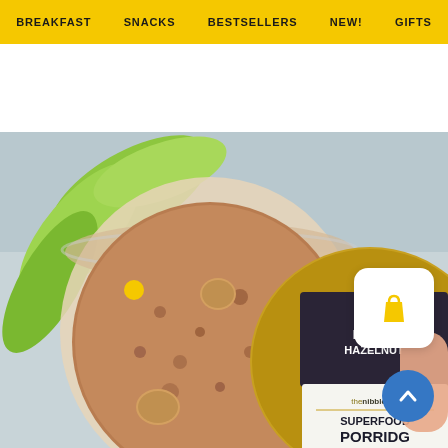BREAKFAST   SNACKS   BESTSELLERS   NEW!   GIFTS
[Figure (photo): Product photo showing an open glass jar of chocolate hazelnut superfood porridge powder with nuts visible inside, a green plant leaf in the background, and the product tin lid with 'CHOCOLATE & HAZELNUT thenibblebox SUPERFOOD PORRIDGE' label held in a hand, on a light blue/grey surface]
[Figure (illustration): White rounded-square shopping bag icon with yellow handbag/cart symbol inside]
[Figure (illustration): Blue circular scroll-to-top button with white upward chevron arrow]